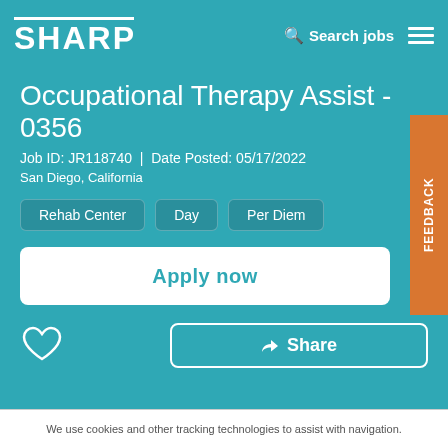SHARP | Search jobs
Occupational Therapy Assist - 0356
Job ID: JR118740  |  Date Posted: 05/17/2022
San Diego, California
Rehab Center
Day
Per Diem
Apply now
Share
We use cookies and other tracking technologies to assist with navigation.